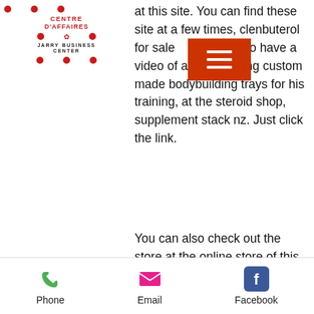[Figure (logo): Jarry Business Center / Centre d'Affaires logo with red dots pattern]
at this site. You can find these site at a few times, clenbuterol for sale [image]. We also have a video of a reader using custom made bodybuilding trays for his training, at the steroid shop, supplement stack nz. Just click the link.
You can also check out the store at the online store of this steroid shop, anavar 60mg. There are some other steroid steroid shops that I have never heard of that sell similar quality steroids for sale at lower prices than my steroid shop which was also recommended to me and for a very low cost, best legal anabolics0.
I think I had a great experience shopping with my friends at the steroid shop online to purchase steroids online for my personal
Phone   Email   Facebook